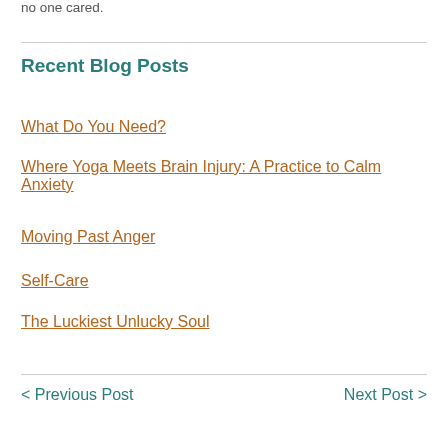no one cared.
Recent Blog Posts
What Do You Need?
Where Yoga Meets Brain Injury: A Practice to Calm Anxiety
Moving Past Anger
Self-Care
The Luckiest Unlucky Soul
< Previous Post    Next Post >